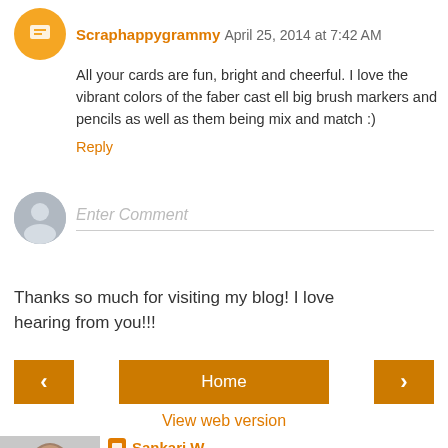Scraphappygrammy  April 25, 2014 at 7:42 AM
All your cards are fun, bright and cheerful. I love the vibrant colors of the faber cast ell big brush markers and pencils as well as them being mix and match :)
Reply
Enter Comment
Thanks so much for visiting my blog! I love hearing from you!!!
Home
View web version
Sankari W.
Hi, my name is Sankari and I am the lucky mom of 2 darlings. I love being with my family, laughing and